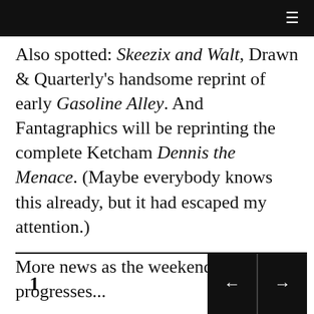≡
Also spotted: Skeezix and Walt, Drawn & Quarterly's handsome reprint of early Gasoline Alley. And Fantagraphics will be reprinting the complete Ketcham Dennis the Menace. (Maybe everybody knows this already, but it had escaped my attention.)
More news as the weekend progresses...
1 ← →